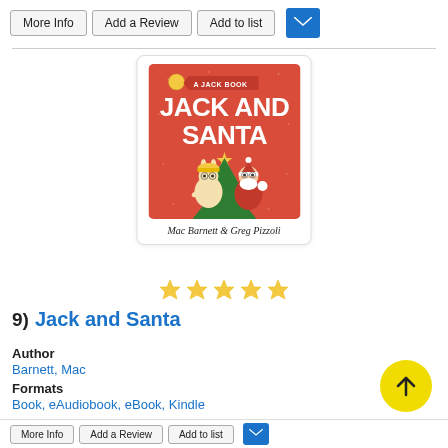More Info | Add a Review | Add to list
[Figure (illustration): Book cover for 'Jack and Santa' by Mac Barnett & Greg Pizzoli. Red background with cartoon bunny in a hard hat and Santa Claus peeking around a Christmas tree. Banner reads 'A Jack Book'.]
[Figure (other): Five gold star rating icons]
9)  Jack and Santa
Author
Barnett, Mac
Formats
Book, eAudiobook, eBook, Kindle
Description
Read Description
More Info | Add a Review | Add to list